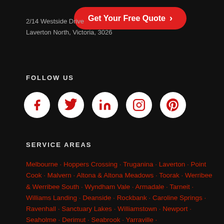2/14 Westside Drive
Laverton North, Victoria, 3026
Get Your Free Quote >
FOLLOW US
[Figure (infographic): Social media icons: Facebook, Twitter, LinkedIn, Instagram, Pinterest — white circles with red icons]
SERVICE AREAS
Melbourne · Hoppers Crossing · Truganina · Laverton · Point Cook · Malvern · Altona & Altona Meadows · Toorak · Werribee & Werribee South · Wyndham Vale · Armadale · Tarneit · Williams Landing · Deanside · Rockbank · Caroline Springs · Ravenhall · Sanctuary Lakes · Williamstown · Newport · Seaholme · Derimut · Seabrook · Yarraville ·